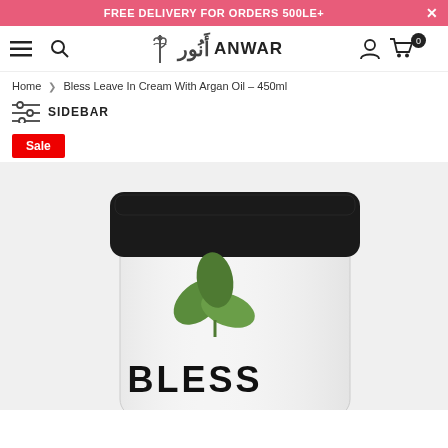FREE DELIVERY FOR ORDERS 500LE+
[Figure (logo): Anwar pharmacy logo with Arabic text and caduceus symbol]
Home > Bless Leave In Cream With Argan Oil – 450ml
SIDEBAR
Sale
[Figure (photo): White jar with black lid showing Bless brand logo with green leaf design and BLESS text on the label]